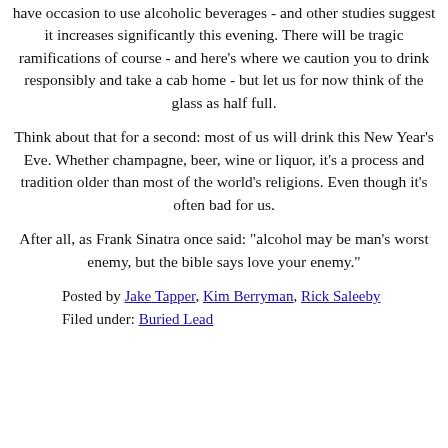have occasion to use alcoholic beverages - and other studies suggest it increases significantly this evening. There will be tragic ramifications of course - and here's where we caution you to drink responsibly and take a cab home - but let us for now think of the glass as half full.
Think about that for a second: most of us will drink this New Year's Eve. Whether champagne, beer, wine or liquor, it's a process and tradition older than most of the world's religions. Even though it's often bad for us.
After all, as Frank Sinatra once said: "alcohol may be man's worst enemy, but the bible says love your enemy."
Posted by Jake Tapper, Kim Berryman, Rick Saleeby
Filed under: Buried Lead